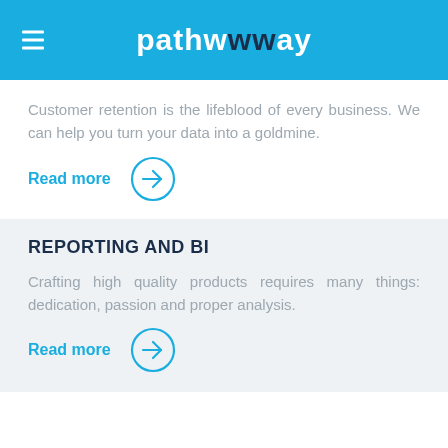pathwwway
Customer retention is the lifeblood of every business. We can help you turn your data into a goldmine.
Read more
REPORTING AND BI
Crafting high quality products requires many things: dedication, passion and proper analysis.
Read more